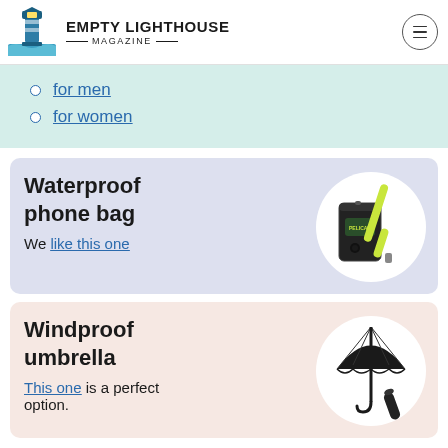EMPTY LIGHTHOUSE MAGAZINE
for men
for women
Waterproof phone bag
We like this one
[Figure (photo): Waterproof phone bag with yellow/green lanyard strap against white circular background]
Windproof umbrella
This one is a perfect option.
[Figure (photo): Black compact windproof umbrella shown open and closed against white circular background]